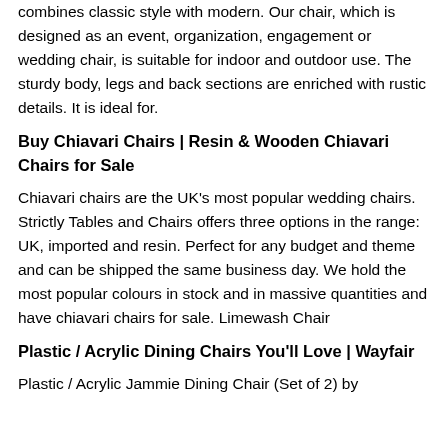combines classic style with modern. Our chair, which is designed as an event, organization, engagement or wedding chair, is suitable for indoor and outdoor use. The sturdy body, legs and back sections are enriched with rustic details. It is ideal for.
Buy Chiavari Chairs | Resin & Wooden Chiavari Chairs for Sale
Chiavari chairs are the UK's most popular wedding chairs. Strictly Tables and Chairs offers three options in the range: UK, imported and resin. Perfect for any budget and theme and can be shipped the same business day. We hold the most popular colours in stock and in massive quantities and have chiavari chairs for sale. Limewash Chair
Plastic / Acrylic Dining Chairs You'll Love | Wayfair
Plastic / Acrylic Jammie Dining Chair (Set of 2) by